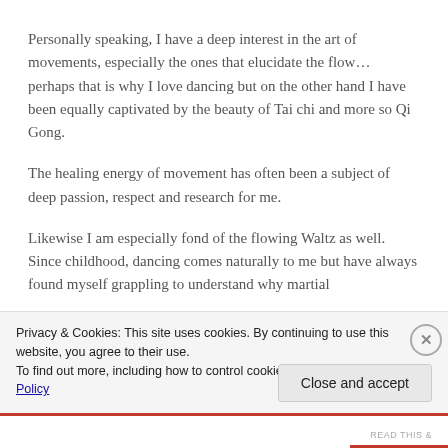Personally speaking, I have a deep interest in the art of movements, especially the ones that elucidate the flow… perhaps that is why I love dancing but on the other hand I have been equally captivated by the beauty of Tai chi and more so Qi Gong.
The healing energy of movement has often been a subject of deep passion, respect and research for me.
Likewise I am especially fond of the flowing Waltz as well. Since childhood, dancing comes naturally to me but have always found myself grappling to understand why martial
Privacy & Cookies: This site uses cookies. By continuing to use this website, you agree to their use.
To find out more, including how to control cookies, see here: Cookie Policy
Close and accept